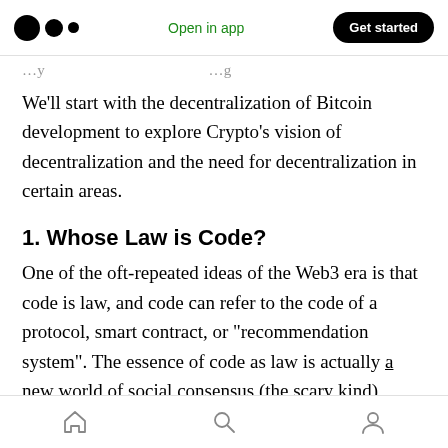Open in app | Get started
We'll start with the decentralization of Bitcoin development to explore Crypto's vision of decentralization and the need for decentralization in certain areas.
1. Whose Law is Code?
One of the oft-repeated ideas of the Web3 era is that code is law, and code can refer to the code of a protocol, smart contract, or "recommendation system". The essence of code as law is actually a new world of social consensus (the scary kind),
Home | Search | Profile